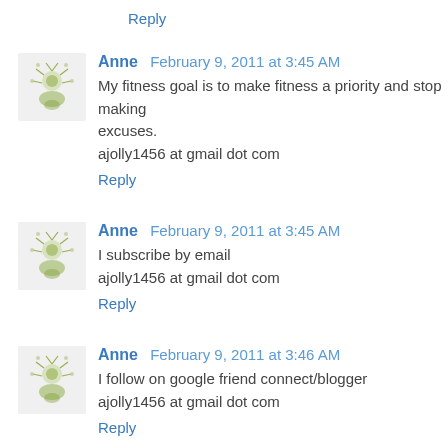Reply
Anne February 9, 2011 at 3:45 AM
My fitness goal is to make fitness a priority and stop making excuses.
ajolly1456 at gmail dot com
Reply
Anne February 9, 2011 at 3:45 AM
I subscribe by email
ajolly1456 at gmail dot com
Reply
Anne February 9, 2011 at 3:46 AM
I follow on google friend connect/blogger
ajolly1456 at gmail dot com
Reply